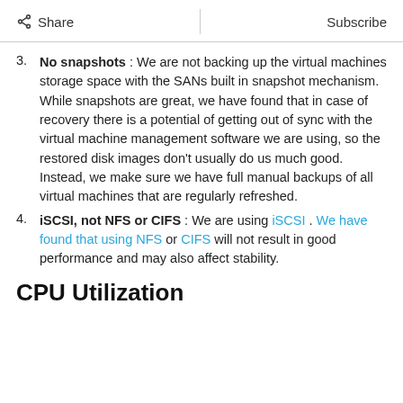Share  |  Subscribe
3. No snapshots : We are not backing up the virtual machines storage space with the SANs built in snapshot mechanism. While snapshots are great, we have found that in case of recovery there is a potential of getting out of sync with the virtual machine management software we are using, so the restored disk images don't usually do us much good. Instead, we make sure we have full manual backups of all virtual machines that are regularly refreshed.
4. iSCSI, not NFS or CIFS : We are using iSCSI . We have found that using NFS or CIFS will not result in good performance and may also affect stability.
CPU Utilization